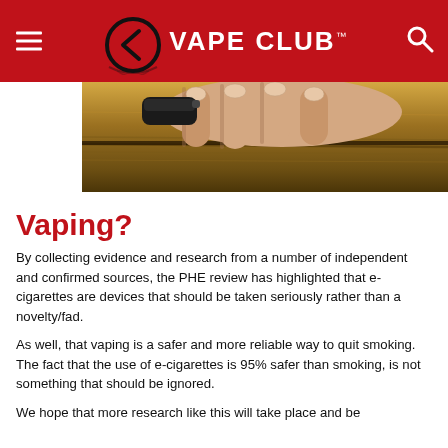VAPE CLUB™
[Figure (photo): Hand holding a black vaping device against a wooden surface, viewed from above]
Vaping?
By collecting evidence and research from a number of independent and confirmed sources, the PHE review has highlighted that e-cigarettes are devices that should be taken seriously rather than a novelty/fad.
As well, that vaping is a safer and more reliable way to quit smoking. The fact that the use of e-cigarettes is 95% safer than smoking, is not something that should be ignored.
We hope that more research like this will take place and be